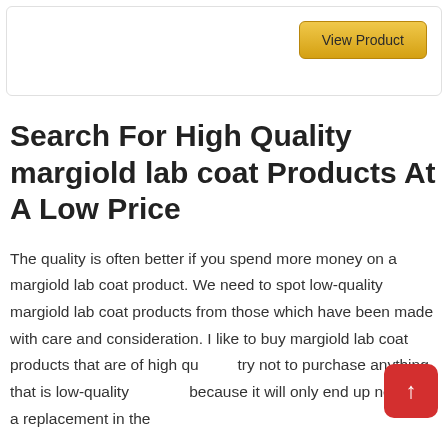[Figure (other): Card with 'View Product' golden button in top right]
Search For High Quality margiold lab coat Products At A Low Price
The quality is often better if you spend more money on a margiold lab coat product. We need to spot low-quality margiold lab coat products from those which have been made with care and consideration. I like to buy margiold lab coat products that are of high qu... try not to purchase anything that is low-quality because it will only end up needing a replacement in the